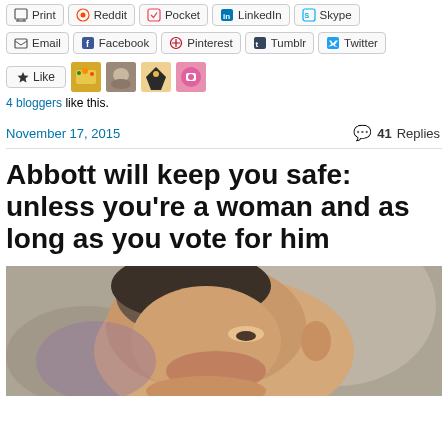[Figure (screenshot): Share buttons row 1: Print, Reddit, Pocket, LinkedIn, Skype]
[Figure (screenshot): Share buttons row 2: Email, Facebook, Pinterest, Tumblr, Twitter]
[Figure (screenshot): Like button with 4 blogger avatars]
4 bloggers like this.
November 17, 2015    41 Replies
Abbott will keep you safe: unless you're a woman and as long as you vote for him
[Figure (photo): Close-up photo of a man's face in profile, blurred background]